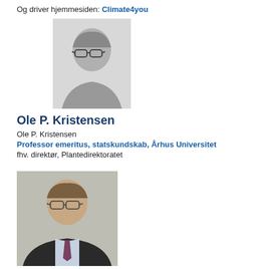Og driver hjemmesiden: Climate4you
[Figure (photo): Black and white headshot photo of an older man wearing glasses, in a light blazer]
Ole P. Kristensen
Ole P. Kristensen
Professor emeritus, statskundskab, Århus Universitet
fhv. direktør, Plantedirektoratet
[Figure (photo): Color headshot photo of a middle-aged man wearing glasses, in a dark suit with a tie]